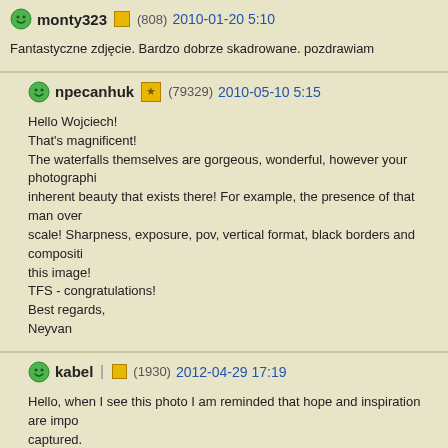monty323 (808) 2010-01-20 5:10
Fantastyczne zdjęcie. Bardzo dobrze skadrowane. pozdrawiam
npecanhuk (79329) 2010-05-10 5:15
Hello Wojciech!
That's magnificent!
The waterfalls themselves are gorgeous, wonderful, however your photographic...
inherent beauty that exists there! For example, the presence of that man over th...
scale! Sharpness, exposure, pov, vertical format, black borders and composition...
this image!
TFS - congratulations!
Best regards,
Neyvan
kabel (1930) 2012-04-29 17:19
Hello, when I see this photo I am reminded that hope and inspiration are importa...
captured.
TFS,
Karen